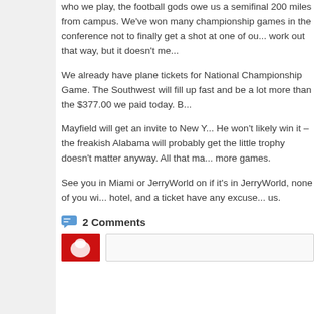who we play, the football gods owe us a semifinal 200 miles from campus. We've won many championship games in the conference not to finally get a shot at one of ou... work out that way, but it doesn't me...
We already have plane tickets for National Championship Game. The Southwest will fill up fast and be a lot more than the $377.00 we paid today. B...
Mayfield will get an invite to New Y... He won't likely win it – the freakish Alabama will probably get the little trophy doesn't matter anyway. All that ma... more games.
See you in Miami or JerryWorld on if it's in JerryWorld, none of you wi... hotel, and a ticket have any excuse... us.
2 Comments